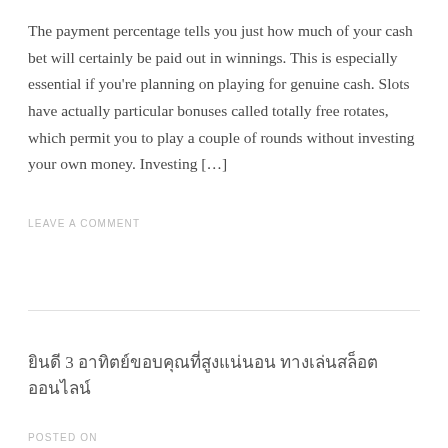The payment percentage tells you just how much of your cash bet will certainly be paid out in winnings. This is especially essential if you're planning on playing for genuine cash. Slots have actually particular bonuses called totally free rotates, which permit you to play a couple of rounds without investing your own money. Investing […]
LEAVE A COMMENT
ยินดี 3 อาทิตย์ขอบคุณที่สูงแน่นอน ทางเล่นสล็อตออนไลน์
POSTED ON